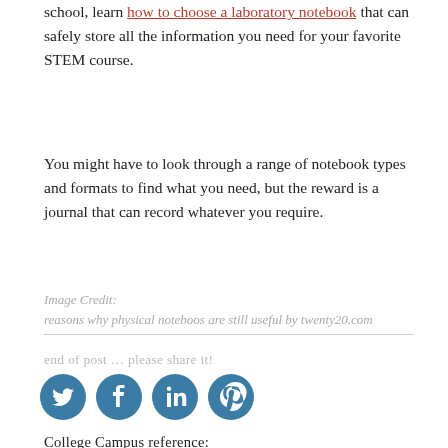school, learn how to choose a laboratory notebook that can safely store all the information you need for your favorite STEM course.
You might have to look through a range of notebook types and formats to find what you need, but the reward is a journal that can record whatever you require.
Image Credit:
reasons why physical noteboos are still useful by twenty20.com
end of post … please share it!
[Figure (infographic): Four social media sharing icons: Twitter, Facebook, LinkedIn, Pinterest — dark teal circles with white logos]
College Campus reference:
GUIDE: understanding college financial steps